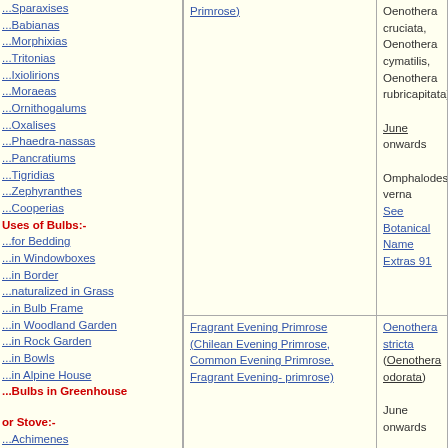...Sparaxises
...Babianas
...Morphixias
...Tritonias
...Ixiolirions
...Moraeas
...Ornithogalums
...Oxalises
...Phaedra-nassas
...Pancratiums
...Tigridias
...Zephyranthes
...Cooperias
Uses of Bulbs:-
...for Bedding
...in Windowboxes
...in Border
...naturalized in Grass
...in Bulb Frame
...in Woodland Garden
...in Rock Garden
...in Bowls
...in Alpine House
...Bulbs in Greenhouse or Stove:-
...Achimenes
...Alocasias
...Amorpho-phalluses
...Arisaemas
...Arums
...Begonias
...Bomareas
...Caladiums
...Clivias
...Colocasias
...Crinums
...Cyclamens
...Cyrtanthuses
...Eucharises
...Urceocharis
...Furycles
| Common Name | Botanical Name |  |
| --- | --- | --- |
| Primrose) | Oenothera cruciata, Oenothera cymatilis, Oenothera rubricapitata)

June onwards

Omphalodes verna
See Botanical Name Extras 91 |  |
| Fragrant Evening Primrose (Chilean Evening Primrose, Common Evening Primrose, Fragrant Evening-primrose) | Oenothera stricta (Oenothera odorata)

June onwards | Willow-Herb |